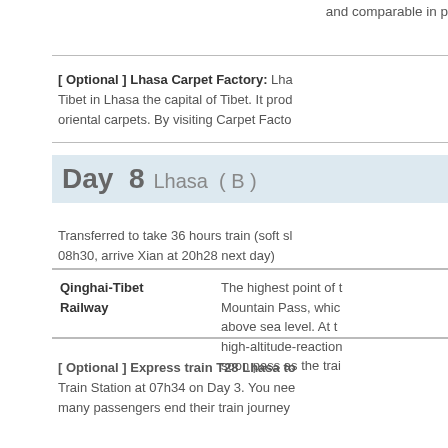and comparable in p
[ Optional ] Lhasa Carpet Factory: Lha Tibet in Lhasa the capital of Tibet. It prod oriental carpets. By visiting Carpet Facto
Day  8  Lhasa  ( B )
Transferred to take 36 hours train (soft sl 08h30, arrive Xian at 20h28 next day)
| Qinghai-Tibet Railway |  |
| --- | --- |
| Qinghai-Tibet Railway | The highest point of  Mountain Pass, whic above sea level. At t high-altitude-reaction soon pass as the trai |
[ Optional ] Express train T28 Lhasa to Train Station at 07h34 on Day 3. You nee many passengers end their train journey